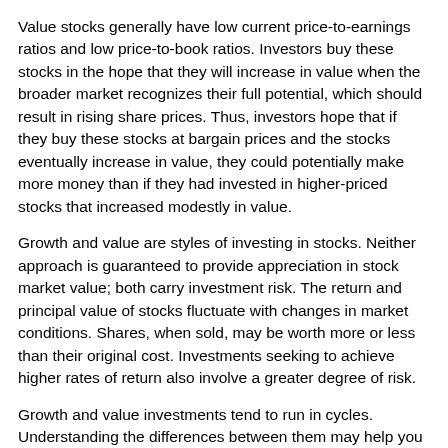Value stocks generally have low current price-to-earnings ratios and low price-to-book ratios. Investors buy these stocks in the hope that they will increase in value when the broader market recognizes their full potential, which should result in rising share prices. Thus, investors hope that if they buy these stocks at bargain prices and the stocks eventually increase in value, they could potentially make more money than if they had invested in higher-priced stocks that increased modestly in value.
Growth and value are styles of investing in stocks. Neither approach is guaranteed to provide appreciation in stock market value; both carry investment risk. The return and principal value of stocks fluctuate with changes in market conditions. Shares, when sold, may be worth more or less than their original cost. Investments seeking to achieve higher rates of return also involve a greater degree of risk.
Growth and value investments tend to run in cycles. Understanding the differences between them may help you decide which may be appropriate to help you pursue your specific goals. Regardless of which type of investor you are, there may be a place for both growth and value stocks in your portfolio. This strategy may help you manage risk and potentially enhance your returns over time.
Note: The amount of a company’s dividend can fluctuate with earnings, which are influenced by economic, market, and political events. Dividends are typically not guaranteed and could be changed or eliminated.